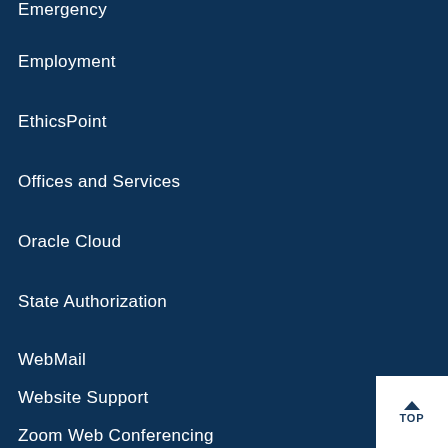Emergency
Employment
EthicsPoint
Offices and Services
Oracle Cloud
State Authorization
WebMail
Website Support
Zoom Web Conferencing